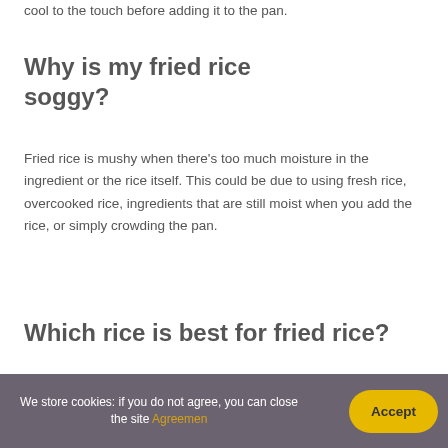cool to the touch before adding it to the pan.
Why is my fried rice soggy?
Fried rice is mushy when there's too much moisture in the ingredient or the rice itself. This could be due to using fresh rice, overcooked rice, ingredients that are still moist when you add the rice, or simply crowding the pan.
Which rice is best for fried rice?
We store cookies: if you do not agree, you can close the site Agreemen